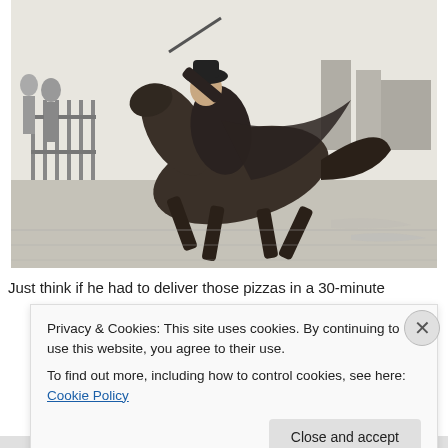[Figure (illustration): Black and white engraving/illustration of a rider on a galloping horse, wearing a cape and hat, riding at full speed through what appears to be a town street. Two figures are visible on the left side watching. Buildings are visible in the background on the right.]
Just think if he had to deliver those pizzas in a 30-minute
Privacy & Cookies: This site uses cookies. By continuing to use this website, you agree to their use.
To find out more, including how to control cookies, see here: Cookie Policy
Close and accept